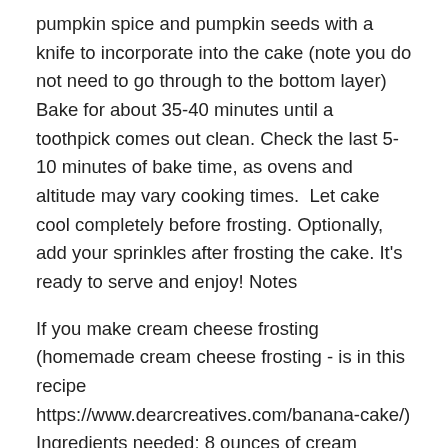pumpkin spice and pumpkin seeds with a knife to incorporate into the cake (note you do not need to go through to the bottom layer)  Bake for about 35-40 minutes until a toothpick comes out clean. Check the last 5-10 minutes of bake time, as ovens and altitude may vary cooking times.  Let cake cool completely before frosting.  Optionally, add your sprinkles after frosting the cake. It's ready to serve and enjoy! Notes
If you make cream cheese frosting (homemade cream cheese frosting - is in this recipe https://www.dearcreatives.com/banana-cake/) Ingredients needed: 8 ounces of cream cheese, powdered sugar, vanilla extract. Can you use fresh cooked pumpkin? Yes, you can use fresh pumpkin puree directions are in the original recipe for Pumpkin Spice Cake - https://www.myfoodandfamily.com/recipe/062402/pumpkin-